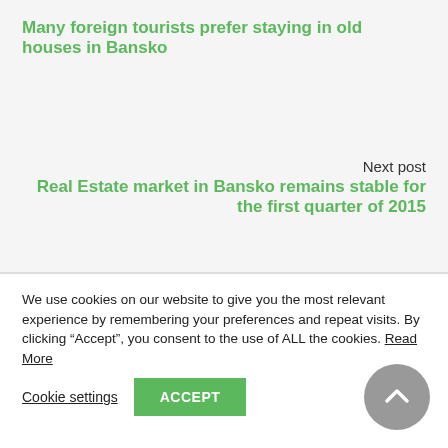Many foreign tourists prefer staying in old houses in Bansko
Next post
Real Estate market in Bansko remains stable for the first quarter of 2015
We use cookies on our website to give you the most relevant experience by remembering your preferences and repeat visits. By clicking “Accept”, you consent to the use of ALL the cookies. Read More
Cookie settings
ACCEPT